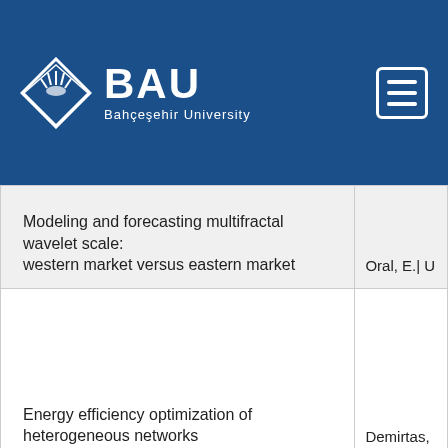BAU Bahçeşehir University
| Title | Author |
| --- | --- |
| Modeling and forecasting multifractal wavelet scale: western market versus eastern market | Oral, E.| U... |
| Energy efficiency optimization of heterogeneous networks | Demirtas,... |
| A scalable streaming big data architecture for real- |  |